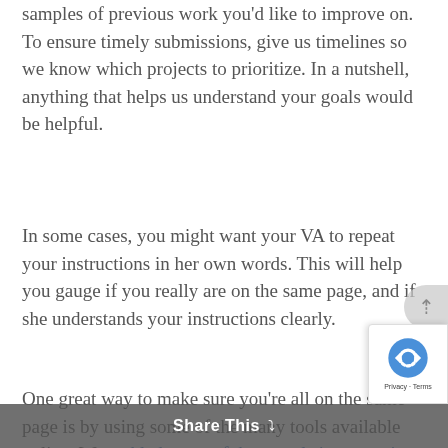that we can take inspiration from – or even samples of previous work you'd like to improve on. To ensure timely submissions, give us timelines so we know which projects to prioritize. In a nutshell, anything that helps us understand your goals would be helpful.
In some cases, you might want your VA to repeat your instructions in her own words. This will help you gauge if you really are on the same page, and if she understands your instructions clearly.
One great way to make sure you're all on the same page is by using some of the many tools available online. We tackled some of these tools in our series on virtual teams, so we won't discuss them at length here. If you